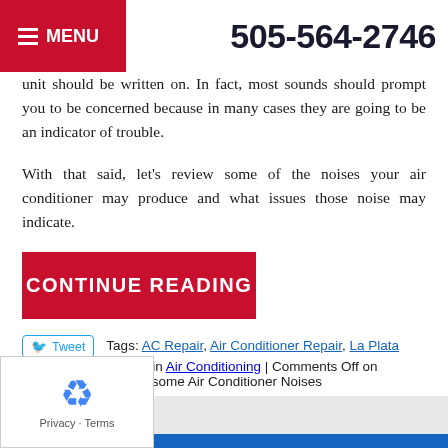MENU | 505-564-2746
unit should be written on. In fact, most sounds should prompt you to be concerned because in many cases they are going to be an indicator of trouble.
With that said, let's review some of the noises your air conditioner may produce and what issues those noise may indicate.
CONTINUE READING
Tags: AC Repair, Air Conditioner Repair, La Plata
Posted in Air Conditioning | Comments Off on Troublesome Air Conditioner Noises